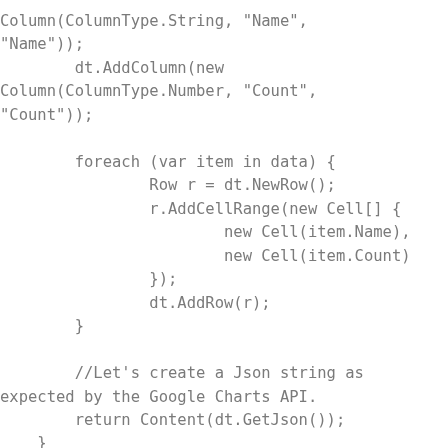Column(ColumnType.String, "Name",
"Name"));
        dt.AddColumn(new
Column(ColumnType.Number, "Count",
"Count"));

        foreach (var item in data) {
                Row r = dt.NewRow();
                r.AddCellRange(new Cell[] {
                        new Cell(item.Name),
                        new Cell(item.Count)
                });
                dt.AddRow(r);
        }

        //Let's create a Json string as
expected by the Google Charts API.
        return Content(dt.GetJson());
    }
}